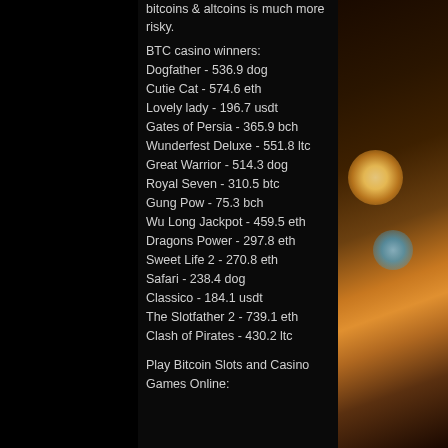bitcoins & altcoins is much more risky.
BTC casino winners:
Dogfather - 536.9 dog
Cutie Cat - 574.6 eth
Lovely lady - 196.7 usdt
Gates of Persia - 365.9 bch
Wunderfest Deluxe - 551.8 ltc
Great Warrior - 514.3 dog
Royal Seven - 310.5 btc
Gung Pow - 75.3 bch
Wu Long Jackpot - 459.5 eth
Dragons Power - 297.8 eth
Sweet Life 2 - 270.8 eth
Safari - 238.4 dog
Classico - 184.1 usdt
The Slotfather 2 - 739.1 eth
Clash of Pirates - 430.2 ltc
Play Bitcoin Slots and Casino Games Online: